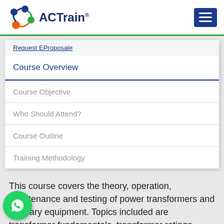ACTrain
Request EProposale
Course Overview
Course Objective
Who Should Attend?
Course Outline
Training Methodology
This course covers the theory, operation, maintenance and testing of power transformers and auxiliary equipment. Topics included are transformer fundamentals, transformer ratings,